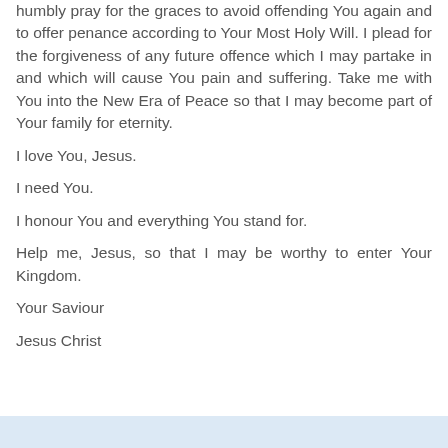humbly pray for the graces to avoid offending You again and to offer penance according to Your Most Holy Will. I plead for the forgiveness of any future offence which I may partake in and which will cause You pain and suffering. Take me with You into the New Era of Peace so that I may become part of Your family for eternity.
I love You, Jesus.
I need You.
I honour You and everything You stand for.
Help me, Jesus, so that I may be worthy to enter Your Kingdom.
Your Saviour
Jesus Christ